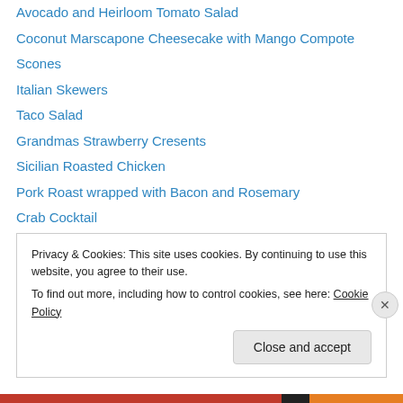Avocado and Heirloom Tomato Salad
Coconut Marscapone Cheesecake with Mango Compote
Scones
Italian Skewers
Taco Salad
Grandmas Strawberry Cresents
Sicilian Roasted Chicken
Pork Roast wrapped with Bacon and Rosemary
Crab Cocktail
Mango Margaritas
bell pepper saute
Chicken and Peas
New traditional Caesar Salad
Privacy & Cookies: This site uses cookies. By continuing to use this website, you agree to their use. To find out more, including how to control cookies, see here: Cookie Policy